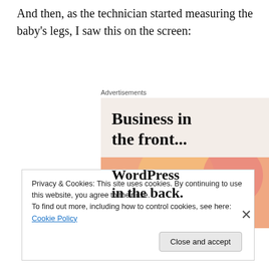And then, as the technician started measuring the baby's legs, I saw this on the screen:
[Figure (screenshot): Advertisement banner showing 'Business in the front... WordPress in the back.' with peach and pink background with decorative circles.]
Privacy & Cookies: This site uses cookies. By continuing to use this website, you agree to their use.
To find out more, including how to control cookies, see here: Cookie Policy
Close and accept